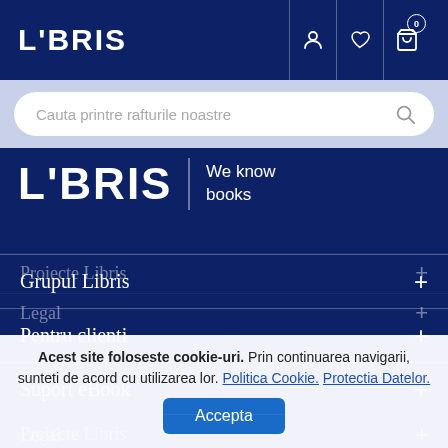LIBRIS — navigation bar with user, wishlist, and cart icons (cart badge: 0)
Cauta printre rafturile noastre
[Figure (logo): LIBRIS logo with tagline 'We know books']
Grupul Libris +
Pentru clienti +
Suport eBook +
Proiecte Libris +
Legal +
Acest site foloseste cookie-uri. Prin continuarea navigarii, sunteti de acord cu utilizarea lor. Politica Cookie. Protectia Datelor. Accepta